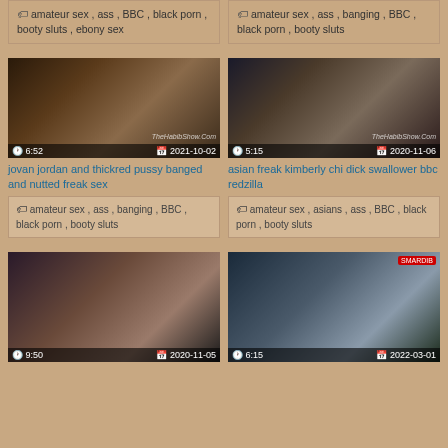amateur sex , ass , BBC , black porn , booty sluts , ebony sex
amateur sex , ass , banging , BBC , black porn , booty sluts
[Figure (photo): Video thumbnail showing intimate scene, duration 6:52, date 2021-10-02, watermark TheHabibShow.Com]
[Figure (photo): Video thumbnail showing intimate scene, duration 5:15, date 2020-11-06, watermark TheHabibShow.Com]
jovan jordan and thickred pussy banged and nutted freak sex
asian freak kimberly chi dick swallower bbc redzilla
amateur sex , ass , banging , BBC , black porn , booty sluts
amateur sex , asians , ass , BBC , black porn , booty sluts
[Figure (photo): Video thumbnail showing woman, duration 9:50, date 2020-11-05]
[Figure (photo): Video thumbnail showing group on stage, duration 6:15, date 2022-03-01]